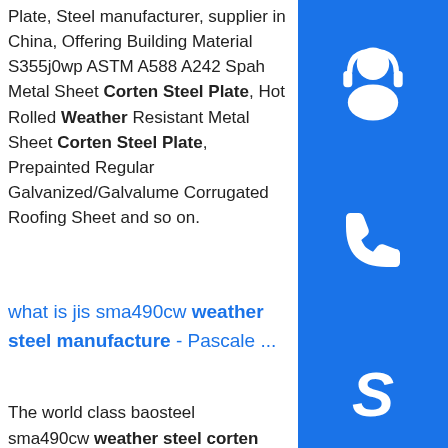Plate, Steel manufacturer, supplier in China, Offering Building Material S355j0wp ASTM A588 A242 Spah Metal Sheet Corten Steel Plate, Hot Rolled Weather Resistant Metal Sheet Corten Steel Plate, Prepainted Regular Galvanized/Galvalume Corrugated Roofing Sheet and so on.
[Figure (infographic): Three blue sidebar buttons: headset/customer support icon, phone icon, Skype icon]
what is jis sma490cw weather steel manufacture - Pascale ...
The world class baosteel sma490cw weather steel corten . SMA490BW steel plate is a kind weathering steel which under JIS G3114 standard.As the weathering steel, SMA490BW steel plate is mainly used in vehicle, bridge, tower, container and so on. The following is SMA490BW steel …sp.info High tensile sma400cp weather steel corten plate Baosteel Jis Sma490cw Weather Steel Corten Pl...
[Figure (photo): Photo of stacked weathering steel / corten steel plates showing layered metal sheets]